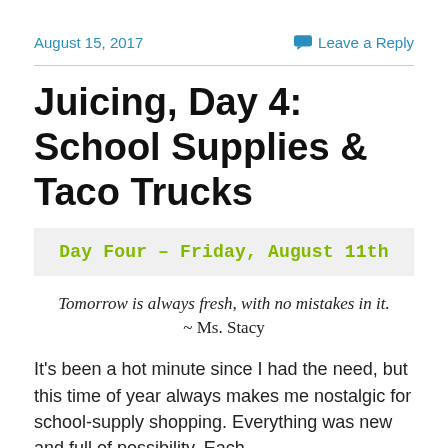August 15, 2017   Leave a Reply
Juicing, Day 4: School Supplies & Taco Trucks
Day Four – Friday, August 11th
Tomorrow is always fresh, with no mistakes in it.
~ Ms. Stacy
It's been a hot minute since I had the need, but this time of year always makes me nostalgic for school-supply shopping. Everything was new and full of possibility. Each